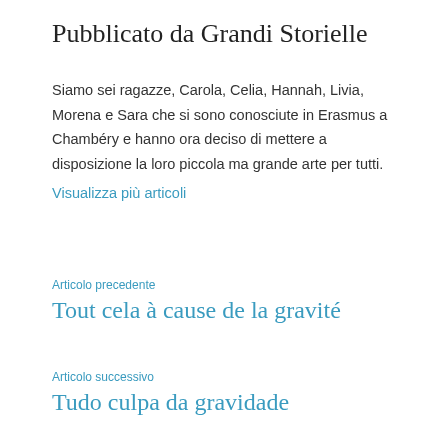Pubblicato da Grandi Storielle
Siamo sei ragazze, Carola, Celia, Hannah, Livia, Morena e Sara che si sono conosciute in Erasmus a Chambéry e hanno ora deciso di mettere a disposizione la loro piccola ma grande arte per tutti.
Visualizza più articoli
Articolo precedente
Tout cela à cause de la gravité
Articolo successivo
Tudo culpa da gravidade